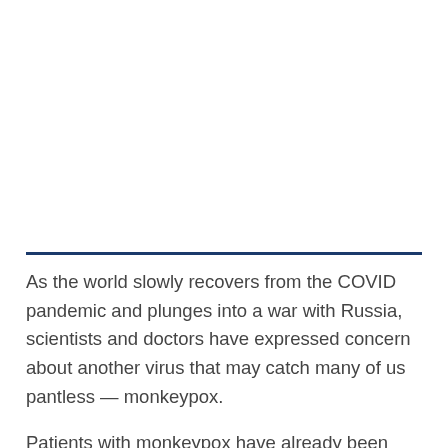[Figure (photo): Image area at top of page (blank/white in this crop)]
As the world slowly recovers from the COVID pandemic and plunges into a war with Russia, scientists and doctors have expressed concern about another virus that may catch many of us pantless — monkeypox.
Patients with monkeypox have already been confirmed